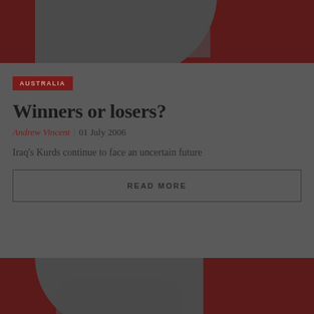[Figure (illustration): Dark red background with grey swoosh/curved abstract shape and grey rectangle overlay — decorative article header image]
AUSTRALIA
Winners or losers?
Andrew Vincent | 01 July 2006
Iraq's Kurds continue to face an uncertain future
READ MORE
[Figure (illustration): Dark red background with grey swoosh/curved abstract shape — decorative article thumbnail image (partially cropped at bottom)]